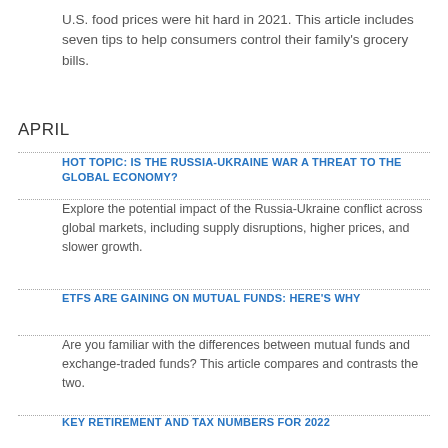U.S. food prices were hit hard in 2021. This article includes seven tips to help consumers control their family's grocery bills.
APRIL
HOT TOPIC: IS THE RUSSIA-UKRAINE WAR A THREAT TO THE GLOBAL ECONOMY?
Explore the potential impact of the Russia-Ukraine conflict across global markets, including supply disruptions, higher prices, and slower growth.
ETFS ARE GAINING ON MUTUAL FUNDS: HERE'S WHY
Are you familiar with the differences between mutual funds and exchange-traded funds? This article compares and contrasts the two.
KEY RETIREMENT AND TAX NUMBERS FOR 2022
Explore some key retirement plan contribution limits and